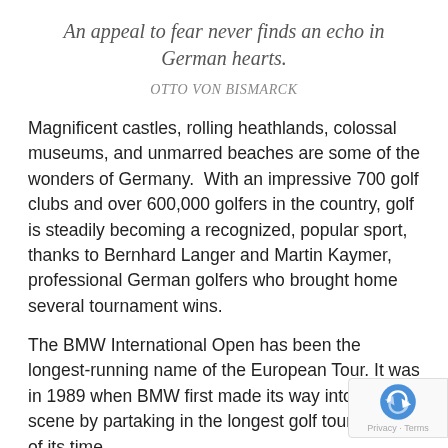An appeal to fear never finds an echo in German hearts.
OTTO VON BISMARCK
Magnificent castles, rolling heathlands, colossal museums, and unmarred beaches are some of the wonders of Germany.  With an impressive 700 golf clubs and over 600,000 golfers in the country, golf is steadily becoming a recognized, popular sport, thanks to Bernhard Langer and Martin Kaymer, professional German golfers who brought home several tournament wins.
The BMW International Open has been the longest-running name of the European Tour. It was in 1989 when BMW first made its way into the golf scene by partaking in the longest golf tournament of its time.